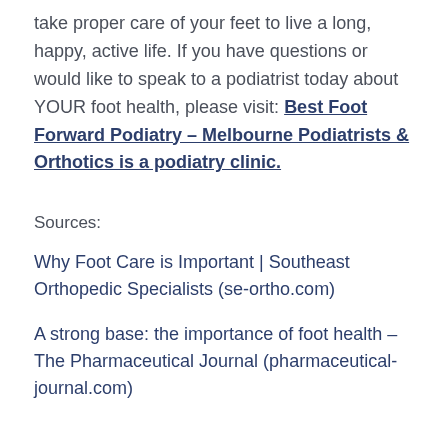take proper care of your feet to live a long, happy, active life. If you have questions or would like to speak to a podiatrist today about YOUR foot health, please visit: Best Foot Forward Podiatry – Melbourne Podiatrists & Orthotics is a podiatry clinic.
Sources:
Why Foot Care is Important | Southeast Orthopedic Specialists (se-ortho.com)
A strong base: the importance of foot health – The Pharmaceutical Journal (pharmaceutical-journal.com)